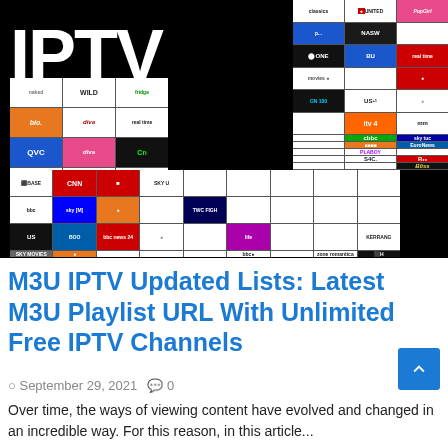[Figure (illustration): IPTV M3U Links promotional banner image on black background with large white bold text reading IPTV, M3U, LINKS, surrounded by collage of TV channel logos including QVC, CNN, bio, diva, Cartoon Network, BBC, ITV4, EuroNews, Sky, and many others.]
M3U IPTV Updated Lists: Latest M3U Playlist URL With Unlimited Free IPTV Channels
September 29, 2021   0
Over time, the ways of viewing content have evolved and changed in an incredible way. For this reason, in this article...